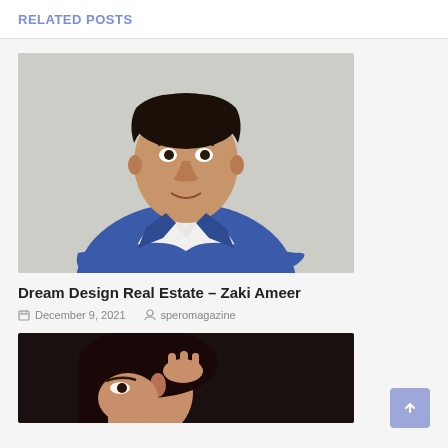RELATED POSTS
[Figure (photo): Professional headshot of a young Asian man in a blue suit and white shirt, arms crossed, against a light grey background]
Dream Design Real Estate – Zaki Ameer
December 9, 2021   speromagazine
[Figure (photo): Close-up of a person with hand raised near their ear/head, dark background, appears to show stress or contemplation]